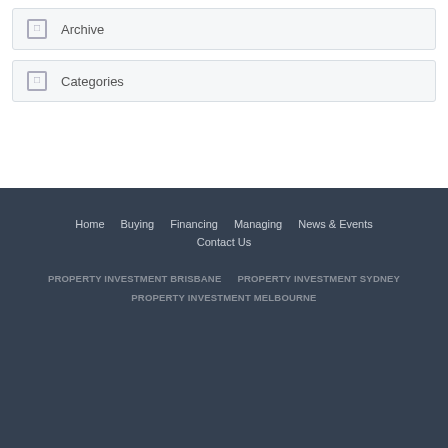Archive
Categories
Home   Buying   Financing   Managing   News & Events   Contact Us   PROPERTY INVESTMENT BRISBANE   PROPERTY INVESTMENT SYDNEY   PROPERTY INVESTMENT MELBOURNE